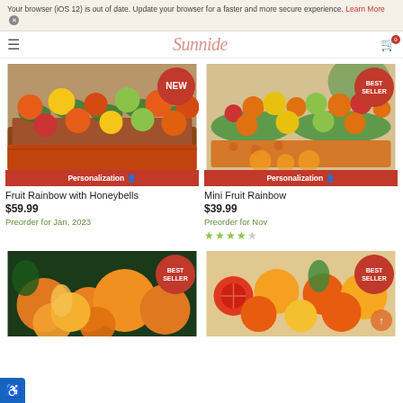Your browser (iOS 12) is out of date. Update your browser for a faster and more secure experience. Learn More X
[Figure (screenshot): Product card: Fruit Rainbow with Honeybells fruit basket with NEW badge and Personalization bar]
Fruit Rainbow with Honeybells
$59.99
Preorder for Jan, 2023
[Figure (screenshot): Product card: Mini Fruit Rainbow fruit basket with BEST SELLER badge and Personalization bar]
Mini Fruit Rainbow
$39.99
Preorder for Nov
[Figure (screenshot): Product card: citrus fruit item with BEST SELLER badge (bottom left)]
[Figure (screenshot): Product card: blood oranges and citrus item with BEST SELLER badge (bottom right)]